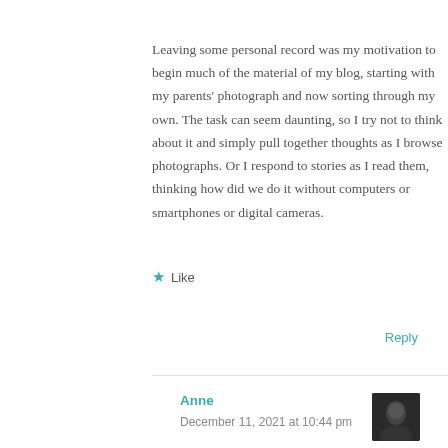Leaving some personal record was my motivation to begin much of the material of my blog, starting with my parents' photograph and now sorting through my own. The task can seem daunting, so I try not to think about it and simply pull together thoughts as I browse photographs. Or I respond to stories as I read them, thinking how did we do it without computers or smartphones or digital cameras.
★ Like
Reply
Anne
December 11, 2021 at 10:44 pm
[Figure (photo): Small avatar photo of a person, partially visible, dark tones.]